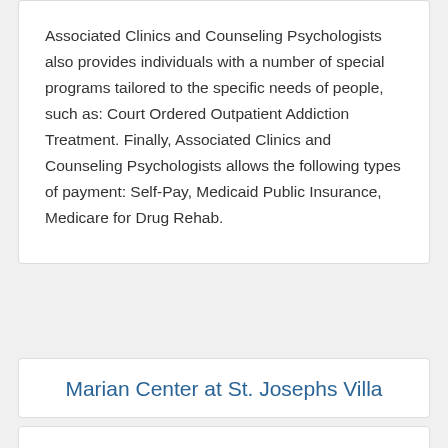Associated Clinics and Counseling Psychologists also provides individuals with a number of special programs tailored to the specific needs of people, such as: Court Ordered Outpatient Addiction Treatment. Finally, Associated Clinics and Counseling Psychologists allows the following types of payment: Self-Pay, Medicaid Public Insurance, Medicare for Drug Rehab.
Marian Center at St. Josephs Villa
Marian Center at St. Josephs Villa is an alcohol and drug rehab center found at 451